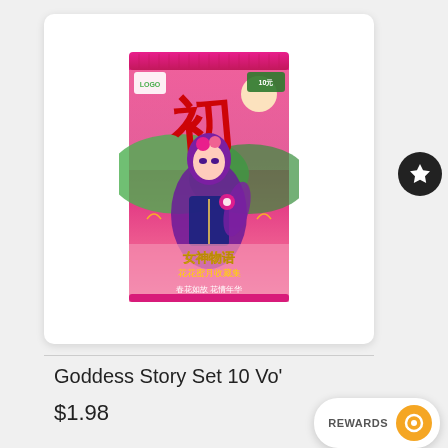[Figure (photo): Product packaging for Goddess Story Set 10 trading card booster pack with anime illustration — pink foil pack featuring an anime girl character with Chinese text]
Goddess Story Set 10 Vo'
$1.98
REWARDS